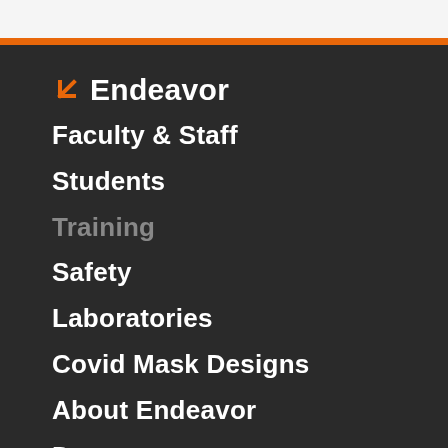Endeavor
Faculty & Staff
Students
Training
Safety
Laboratories
Covid Mask Designs
About Endeavor
Donate